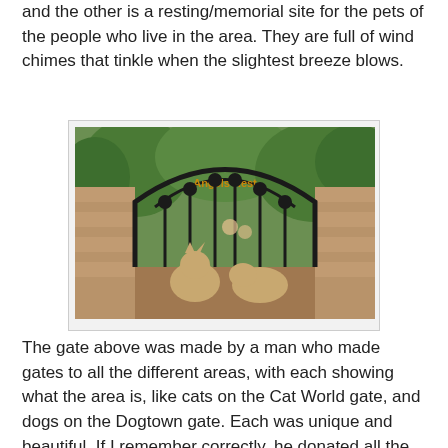and the other is a resting/memorial site for the pets of the people who live in the area.  They are full of wind chimes that tinkle when the slightest breeze blows.
[Figure (photo): A decorative iron gate labeled 'Angels Rest' with an arched top, featuring sculpted cat and dog figures at the bottom. The gate is set between stone pillars with green trees visible in the background.]
The gate above was made by a man who made gates to all the different areas, with each showing what the area is, like cats on the Cat World gate, and dogs on the Dogtown gate.  Each was unique and beautiful.  If I remember correctly, he donated all the gates to Best Friends.
The facility and all the work and loving care that happens